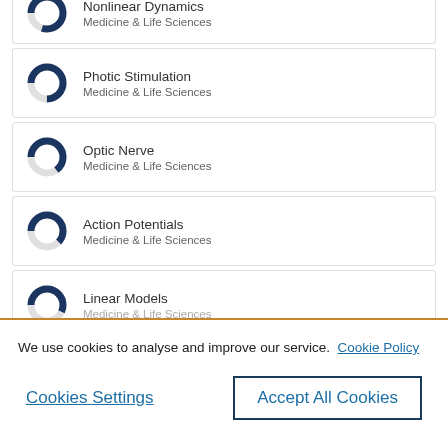[Figure (donut-chart): Partial donut chart icon for Nonlinear Dynamics - Medicine & Life Sciences (cropped at top)]
[Figure (donut-chart): Donut chart icon approximately 75% filled dark navy, for Photic Stimulation - Medicine & Life Sciences]
[Figure (donut-chart): Donut chart icon approximately 65% filled dark navy, for Optic Nerve - Medicine & Life Sciences]
[Figure (donut-chart): Donut chart icon approximately 60% filled dark navy, for Action Potentials - Medicine & Life Sciences]
[Figure (donut-chart): Donut chart icon approximately 55% filled dark navy, for Linear Models - Medicine & Life Sciences (partially cropped)]
We use cookies to analyse and improve our service. Cookie Policy
Cookies Settings
Accept All Cookies